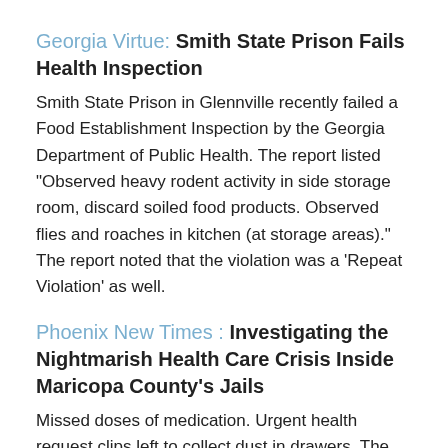Georgia Virtue: Smith State Prison Fails Health Inspection
Smith State Prison in Glennville recently failed a Food Establishment Inspection by the Georgia Department of Public Health. The report listed "Observed heavy rodent activity in side storage room, discard soiled food products. Observed flies and roaches in kitchen (at storage areas)." The report noted that the violation was a 'Repeat Violation' as well.
Phoenix New Times : Investigating the Nightmarish Health Care Crisis Inside Maricopa County's Jails
Missed doses of medication. Urgent health request clips left to collect dust in drawers. The